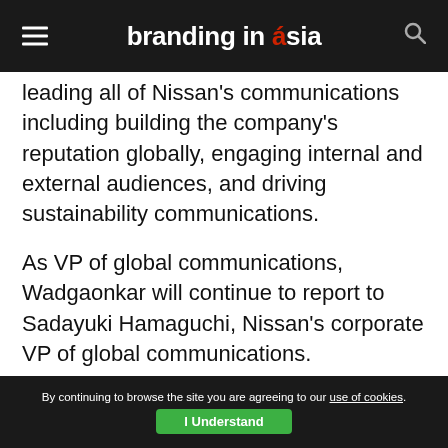branding in asia
leading all of Nissan’s communications including building the company’s reputation globally, engaging internal and external audiences, and driving sustainability communications.
As VP of global communications, Wadgaonkar will continue to report to Sadayuki Hamaguchi, Nissan’s corporate VP of global communications.
Wadgaonkar brings more than 27 years of
By continuing to browse the site you are agreeing to our use of cookies. I Understand